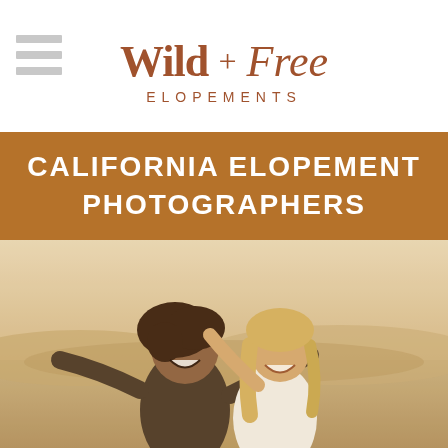[Figure (logo): Wild + Free Elopements logo with hamburger menu icon on the left, brand name in serif brown script and uppercase tracking]
CALIFORNIA ELOPEMENT PHOTOGRAPHERS
[Figure (photo): A joyful couple outdoors in a desert landscape. The man has curly brown hair and is laughing with his mouth wide open; the woman has long blonde hair, wearing white lace, also laughing with arms spread. The background shows arid hills and golden light.]